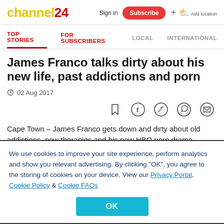channel24
Sign in  Subscribe  Add location
TOP STORIES  FOR SUBSCRIBERS  LOCAL  INTERNATIONAL
James Franco talks dirty about his new life, past addictions and porn
02 Aug 2017
Cape Town – James Franco gets down and dirty about old addictions, new therapies and his new HBO porn drama
We use cookies to improve your site experience, perform analytics and show you relevant advertising. By clicking "OK", you agree to the storing of cookies on your device. View our Privacy Portal, Cookie Policy & Cookie FAQs